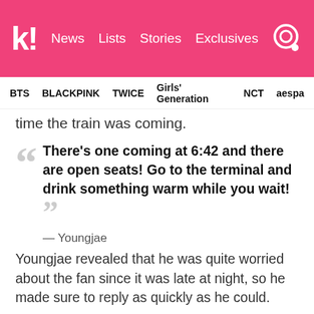k! News Lists Stories Exclusives
BTS BLACKPINK TWICE Girls' Generation NCT aespa
time the train was coming.
There’s one coming at 6:42 and there are open seats! Go to the terminal and drink something warm while you wait!
— Youngjae
Youngjae revealed that he was quite worried about the fan since it was late at night, so he made sure to reply as quickly as he could.